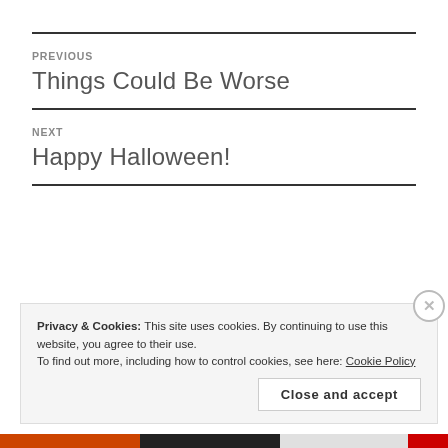PREVIOUS
Things Could Be Worse
NEXT
Happy Halloween!
Privacy & Cookies: This site uses cookies. By continuing to use this website, you agree to their use.
To find out more, including how to control cookies, see here: Cookie Policy
Close and accept